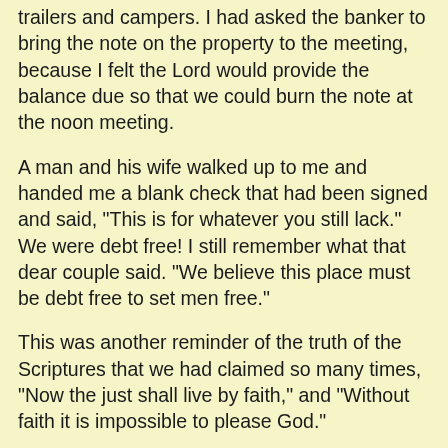trailers and campers. I had asked the banker to bring the note on the property to the meeting, because I felt the Lord would provide the balance due so that we could burn the note at the noon meeting.
A man and his wife walked up to me and handed me a blank check that had been signed and said, "This is for whatever you still lack." We were debt free! I still remember what that dear couple said. "We believe this place must be debt free to set men free."
This was another reminder of the truth of the Scriptures that we had claimed so many times, "Now the just shall live by faith," and "Without faith it is impossible to please God."
The home for ladies, which is currently the Jubilee Home, was at one time a part of the City of Refuge. Even while it was located in Lexington, Texas, ladies who needed deliverance from alcohol and drugs were allowed to come. They were housed in separate dormitories from the men. At the time they were transferred to Corpus Christi, they were called